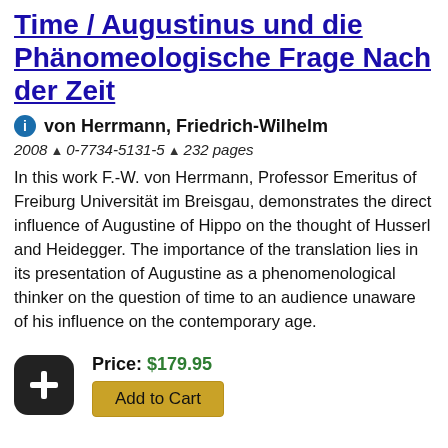Time / Augustinus und die Phänomeologische Frage Nach der Zeit
von Herrmann, Friedrich-Wilhelm
2008 ^ 0-7734-5131-5 ^ 232 pages
In this work F.-W. von Herrmann, Professor Emeritus of Freiburg Universität im Breisgau, demonstrates the direct influence of Augustine of Hippo on the thought of Husserl and Heidegger. The importance of the translation lies in its presentation of Augustine as a phenomenological thinker on the question of time to an audience unaware of his influence on the contemporary age.
Price: $179.95
Add to Cart